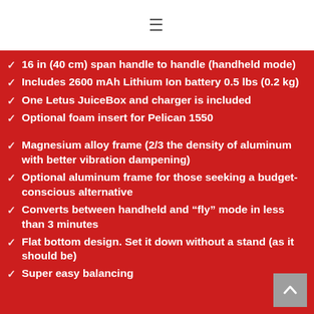≡
16 in (40 cm) span handle to handle (handheld mode)
Includes 2600 mAh Lithium Ion battery 0.5 lbs (0.2 kg)
One Letus JuiceBox and charger is included
Optional foam insert for Pelican 1550
Magnesium alloy frame (2/3 the density of aluminum with better vibration dampening)
Optional aluminum frame for those seeking a budget-conscious alternative
Converts between handheld and "fly" mode in less than 3 minutes
Flat bottom design. Set it down without a stand (as it should be)
Super easy balancing